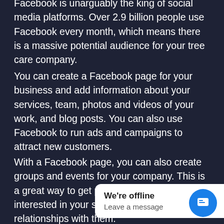Facebook is unarguably the king of social media platforms. Over 2.9 billion people use Facebook every month, which means there is a massive potential audience for your tree care company.
You can create a Facebook page for your business and add information about your services, team, photos and videos of your work, and blog posts. You can also use Facebook to run ads and campaigns to attract new customers.
With a Facebook page, you can also create groups and events for your company. This is a great way to get potential customers interested in your services and build relationships with them.
[Figure (screenshot): Chat widget showing 'We're offline / Leave a message' with blue chat icon button]